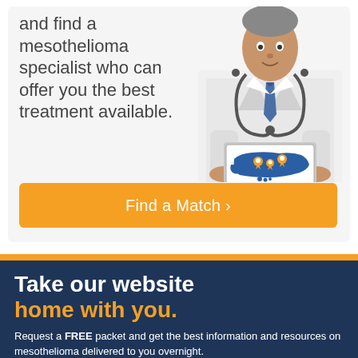and find a mesothelioma specialist who can offer you the best treatment available.
[Figure (photo): Doctor in white coat holding a laptop displaying a map of the USA with orange location pins]
Find a Match ›
Take our website home with you.
Request a FREE packet and get the best information and resources on mesothelioma delivered to you overnight.